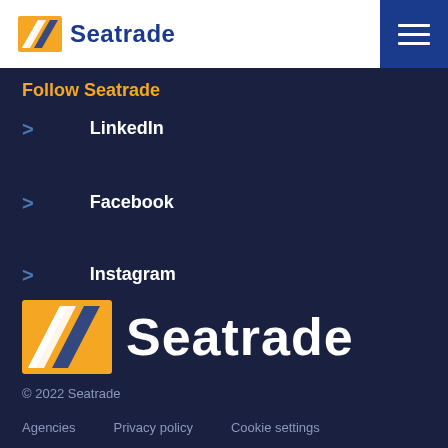Seatrade
Follow Seatrade
LinkedIn
Facebook
Instagram
[Figure (logo): Seatrade logo — orange square with white SG monogram and blue Seatrade text]
© 2022 Seatrade
Agencies    Privacy policy    Cookie settings